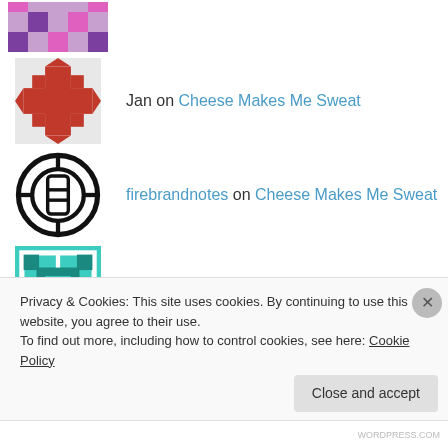Jan on Cheese Makes Me Sweat
firebrandnotes on Cheese Makes Me Sweat
Francois on Cheese Makes Me Sweat
Jacob on Cheese Makes Me Sweat
Mollie on Cheese Makes Me Sweat
Privacy & Cookies: This site uses cookies. By continuing to use this website, you agree to their use.
To find out more, including how to control cookies, see here: Cookie Policy
Close and accept